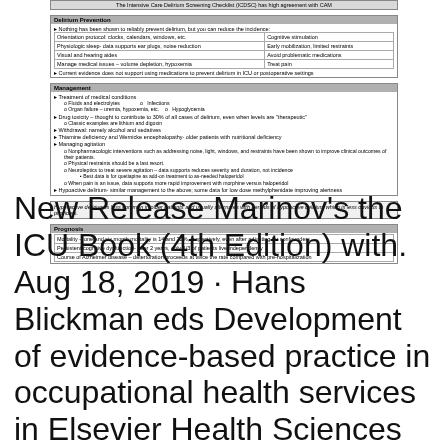The Intensive Care Delirium Screening Checklist (ICDSC) has high agreement with CAM
| Delirium Prevention |
| --- |
| Nothing has been shown to reliably prevent delirium, but you can reduce the incidence: |
| Orientation protocol: clocks, calendars, windows, etc. | Cognitive stimulation |
| Physiologic sleep- data supports ear plugs, noise reduction | Early mobilization, limited restraints |
| Visual and hearing aides | Avoid problematic medications |
| Manage medical issues – volume depletion, hypoxemia | Treat pain |
| Current evidence does not support using medications to prevent delirium in ICU or postoperative settings |
| Management |
| --- |
| Treatment of medical conditions |
| Fluids and electrolytes | Infections |
| Organ failure – uremia, hypoxemia, etc. | Hypoglycemia |
| Drug toxicity – thought to contribute to 30% of all cases of delirium, even when levels are 'therapeutic' |
| Classic examples are lithium and digoxin |
| Withdrawal: namely alcohol and sedatives |
| Thiamine deficiency and Wernicke encephalopathy- older patients with nutritional deficiency |
| Managing agitation |
| Nonpharmacologic interventions such as addressing noise, light, windows, and restraints have been shown to improve clinical outcomes of their patients. |
| Physical restraints should be a last resort. |
| Neuroleptics to treat severe agitation – data supports reduces severity and duration, not incidence |
| Best data is for quetiapine as add-on treatment to as-needed haloperidol |
| When pain is an issue, data supports more rapid improvement with morphine versus haloperidol |
| Hypoactive delirium- similar management to the above; some data for low dose methylphenidate improving alertness |
Hyperactive delirium is less common in older patients and usually alternates with periods of hypoactive delirium which is less obvious to providers.
| Prognosis |
| --- |
| Mortality – one and six month mortality is 14 and 22%, respectively, even after adjusting for confounders |
| Persistent cognitive dysfunction- after 2 years, only 1/3 of patients live independently |
| Course of Alzheimer disease – deterioration proceeds at twice the rate compared with pre-hospitalization |
New Release Marinov's the ICU Book (4th Edition) with. Aug 18, 2019 · Hans Blickman eds Development of evidence-based practice in occupational health services in Elsevier Health Sciences